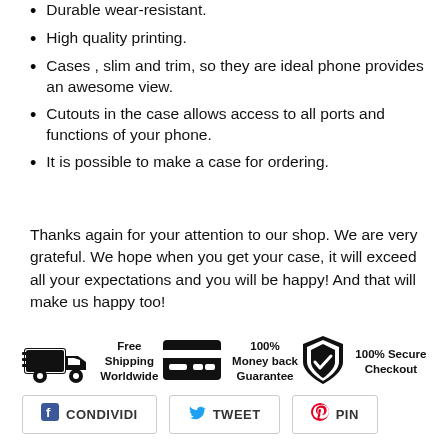Durable wear-resistant.
High quality printing.
Cases , slim and trim, so they are ideal phone provides an awesome view.
Cutouts in the case allows access to all ports and functions of your phone.
It is possible to make a case for ordering.
Thanks again for your attention to our shop. We are very grateful. We hope when you get your case, it will exceed all your expectations and you will be happy! And that will make us happy too!
[Figure (infographic): Three trust badges: Free Shipping Worldwide (truck icon), 100% Money back Guarantee (credit card icon), 100% Secure Checkout (shield icon)]
[Figure (infographic): Social share buttons: CONDIVIDI (Facebook), TWEET (Twitter), PIN (Pinterest)]